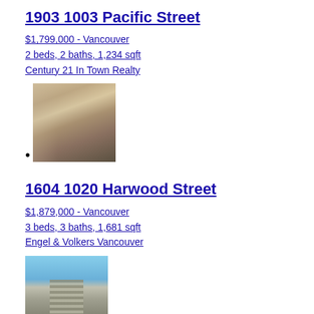1903 1003 Pacific Street
$1,799,000 - Vancouver
2 beds, 2 baths, 1,234 sqft
Century 21 In Town Realty
•
[Figure (photo): Interior photo of a living room with sofa, area rug, and large windows showing a city view]
1604 1020 Harwood Street
$1,879,000 - Vancouver
3 beds, 3 baths, 1,681 sqft
Engel & Volkers Vancouver
[Figure (photo): Exterior photo of a tall residential tower building against a blue sky with trees in foreground]